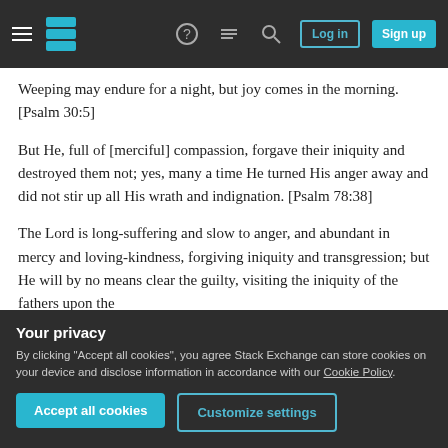Stack Exchange navigation bar with hamburger menu, logo, help, chat, search icons, Log in and Sign up buttons
Weeping may endure for a night, but joy comes in the morning. [Psalm 30:5]
But He, full of [merciful] compassion, forgave their iniquity and destroyed them not; yes, many a time He turned His anger away and did not stir up all His wrath and indignation. [Psalm 78:38]
The Lord is long-suffering and slow to anger, and abundant in mercy and loving-kindness, forgiving iniquity and transgression; but He will by no means clear the guilty, visiting the iniquity of the fathers upon the
Your privacy
By clicking "Accept all cookies", you agree Stack Exchange can store cookies on your device and disclose information in accordance with our Cookie Policy.
Accept all cookies
Customize settings